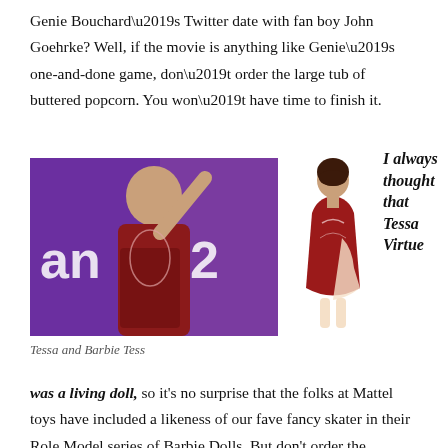Genie Bouchard’s Twitter date with fan boy John Goehrke? Well, if the movie is anything like Genie’s one-and-done game, don’t order the large tub of buttered popcorn. You won’t have time to finish it.
[Figure (photo): Photo of a woman in a dark red sparkly outfit waving, in front of a purple background with text 'an 2'. Beside it, a Barbie doll in a matching red dress.]
Tessa and Barbie Tess
I always thought that Tessa Virtue was a living doll, so it’s no surprise that the folks at Mattel toys have included a likeness of our fave fancy skater in their Role Model series of Barbie Dolls. But don’t order the